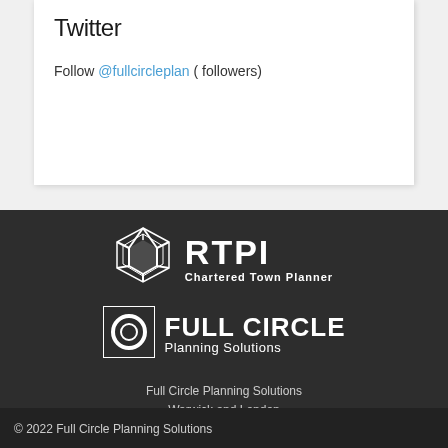Twitter
Follow @fullcircleplan ( followers)
[Figure (logo): RTPI Chartered Town Planner logo with geometric angular white icon and white text]
[Figure (logo): Full Circle Planning Solutions logo with circular emblem and white bold text]
Full Circle Planning Solutions
Warwick and London
WEBSITE BY FOUR90 DESIGNS | WEBSITE DESIGN WARWICK
© 2022 Full Circle Planning Solutions